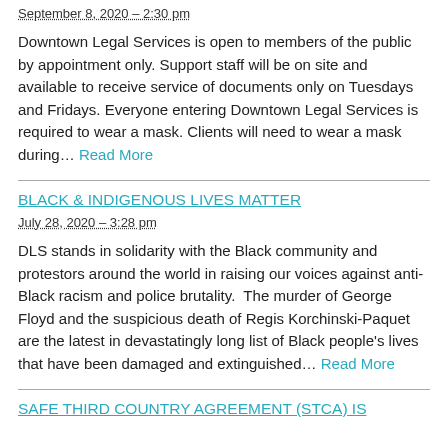September 8, 2020 – 2:30 pm
Downtown Legal Services is open to members of the public by appointment only. Support staff will be on site and available to receive service of documents only on Tuesdays and Fridays. Everyone entering Downtown Legal Services is required to wear a mask. Clients will need to wear a mask during… Read More
BLACK & INDIGENOUS LIVES MATTER
July 28, 2020 – 3:28 pm
DLS stands in solidarity with the Black community and protestors around the world in raising our voices against anti-Black racism and police brutality.  The murder of George Floyd and the suspicious death of Regis Korchinski-Paquet are the latest in devastatingly long list of Black people's lives that have been damaged and extinguished… Read More
SAFE THIRD COUNTRY AGREEMENT (STCA) IS